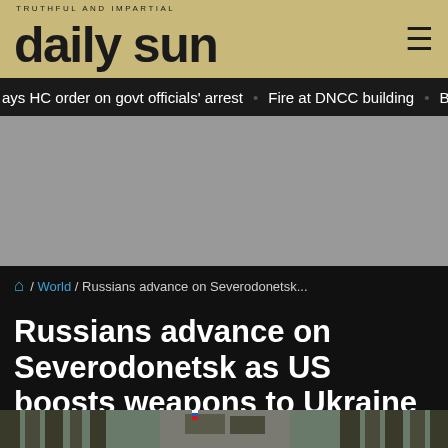daily sun
ays HC order on govt officials' arrest   Fire at DNCC building   Bala
[Figure (photo): Gray advertisement placeholder block]
/ World / Russians advance on Severodonetsk...
Russians advance on Severodonetsk as US boosts weapons to Ukraine
[Figure (photo): Military convoy with Russian flags on armored vehicles moving through a tree-lined street in Ukraine]